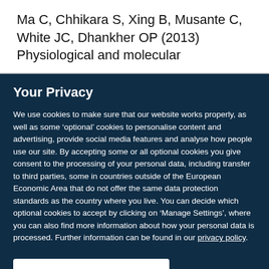Ma C, Chhikara S, Xing B, Musante C, White JC, Dhankher OP (2013) Physiological and molecular
Your Privacy
We use cookies to make sure that our website works properly, as well as some ‘optional’ cookies to personalise content and advertising, provide social media features and analyse how people use our site. By accepting some or all optional cookies you give consent to the processing of your personal data, including transfer to third parties, some in countries outside of the European Economic Area that do not offer the same data protection standards as the country where you live. You can decide which optional cookies to accept by clicking on ‘Manage Settings’, where you can also find more information about how your personal data is processed. Further information can be found in our privacy policy.
Accept all cookies
Manage preferences